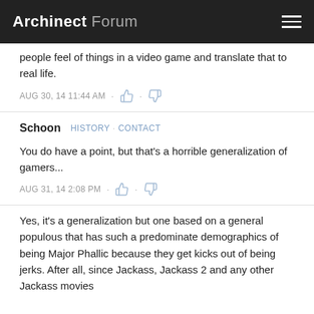Archinect Forum
people feel of things in a video game and translate that to real life.
AUG 30, 14 11:44 AM
Schoon  HISTORY · CONTACT
You do have a point, but that's a horrible generalization of gamers...
AUG 31, 14 2:08 PM
Yes, it's a generalization but one based on a general populous that has such a predominate demographics of being Major Phallic because they get kicks out of being jerks. After all, since Jackass, Jackass 2 and any other Jackass movies